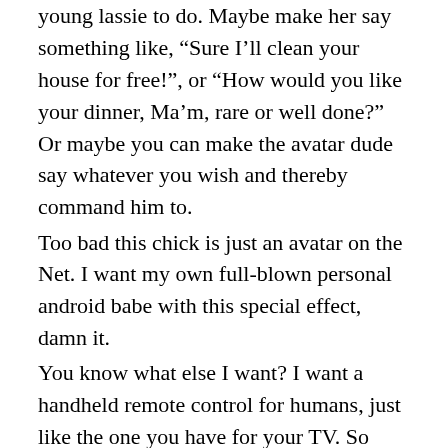young lassie to do. Maybe make her say something like, “Sure I’ll clean your house for free!”, or “How would you like your dinner, Ma’m, rare or well done?” Or maybe you can make the avatar dude say whatever you wish and thereby command him to.
Too bad this chick is just an avatar on the Net. I want my own full-blown personal android babe with this special effect, damn it.
You know what else I want? I want a handheld remote control for humans, just like the one you have for your TV. So next time someone is yelling at me or blabbing on about something stupid, I will just point the remote at them and hit “Mute.” That means their mouth will keep moving, but I won’t be able to hear them anymore. Anyone else that cares to will still be